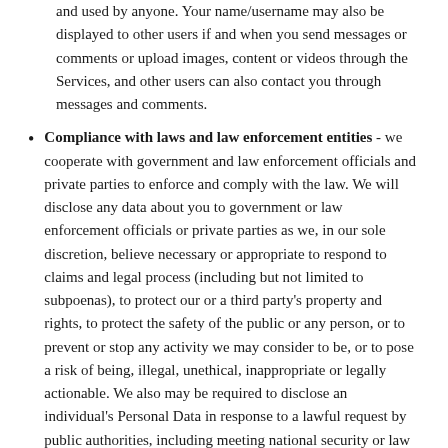and used by anyone. Your name/username may also be displayed to other users if and when you send messages or comments or upload images, content or videos through the Services, and other users can also contact you through messages and comments.
Compliance with laws and law enforcement entities - we cooperate with government and law enforcement officials and private parties to enforce and comply with the law. We will disclose any data about you to government or law enforcement officials or private parties as we, in our sole discretion, believe necessary or appropriate to respond to claims and legal process (including but not limited to subpoenas), to protect our or a third party's property and rights, to protect the safety of the public or any person, or to prevent or stop any activity we may consider to be, or to pose a risk of being, illegal, unethical, inappropriate or legally actionable. We also may be required to disclose an individual's Personal Data in response to a lawful request by public authorities, including meeting national security or law enforcement requirements.
Merger and acquisitions - we may share your data if we